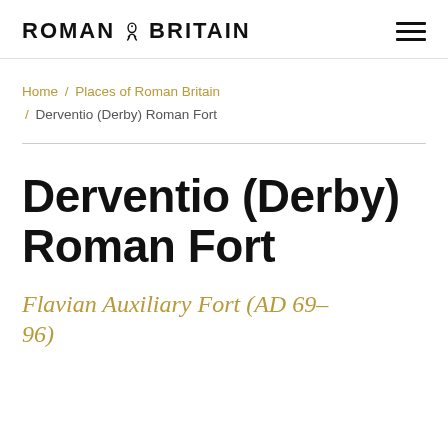ROMAN BRITAIN
Home / Places of Roman Britain / Derventio (Derby) Roman Fort
Derventio (Derby) Roman Fort
Flavian Auxiliary Fort (AD 69–96)